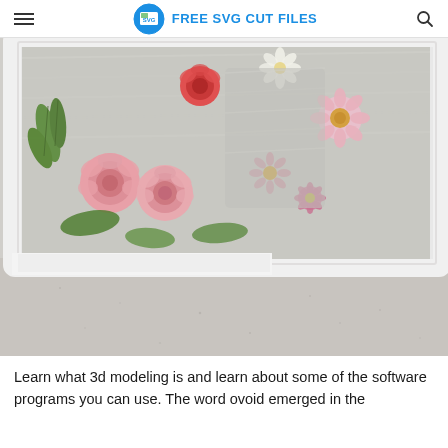FREE SVG CUT FILES
[Figure (photo): Close-up photo of a white shadow box frame filled with artificial flowers including pink roses, pink daisy-like flowers, red roses, white flowers, green leaf accents, and silvery decorative elements, placed on a speckled grey surface.]
Learn what 3d modeling is and learn about some of the software programs you can use. The word ovoid emerged in the